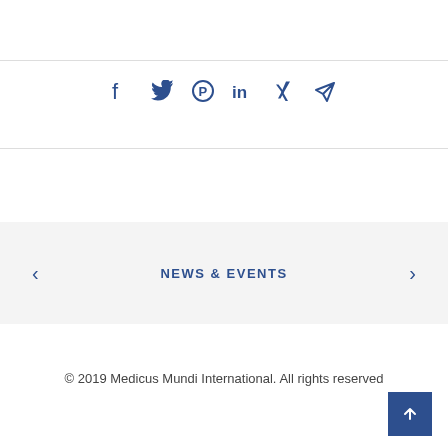[Figure (other): Social sharing icons row: Facebook, Twitter, Pinterest, LinkedIn, Xing, Email/Telegram — all in dark blue]
NEWS & EVENTS
© 2019 Medicus Mundi International. All rights reserved